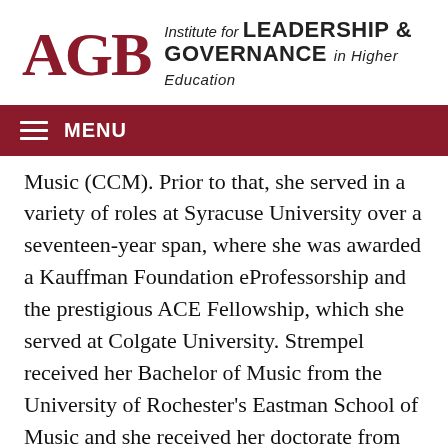AGB Institute for LEADERSHIP & GOVERNANCE in Higher Education
MENU
Music (CCM). Prior to that, she served in a variety of roles at Syracuse University over a seventeen-year span, where she was awarded a Kauffman Foundation eProfessorship and the prestigious ACE Fellowship, which she served at Colgate University. Strempel received her Bachelor of Music from the University of Rochester's Eastman School of Music and she received her doctorate from Indiana University's Jacobs School of Music. A board member of both the International Council of Fine Arts Deans and the National Institute for the Study of Transfer